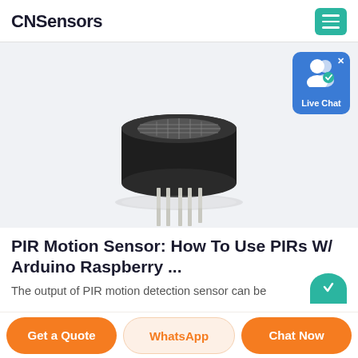CNSensors
[Figure (photo): A PIR motion sensor component with a black cylindrical dome and six metal pins protruding from the base, photographed on a white background.]
PIR Motion Sensor: How To Use PIRs W/ Arduino Raspberry ...
The output of PIR motion detection sensor can be